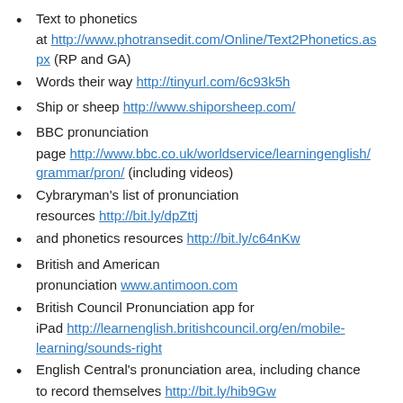Text to phonetics at http://www.photransedit.com/Online/Text2Phonetics.aspx (RP and GA)
Words their way http://tinyurl.com/6c93k5h
Ship or sheep http://www.shiporsheep.com/
BBC pronunciation page http://www.bbc.co.uk/worldservice/learningenglish/grammar/pron/ (including videos)
Cybraryman's list of pronunciation resources http://bit.ly/dpZttj
and phonetics resources http://bit.ly/c64nKw
British and American pronunciation www.antimoon.com
British Council Pronunciation app for iPad http://learnenglish.britishcouncil.org/en/mobile-learning/sounds-right
English Central's pronunciation area, including chance to record themselves http://bit.ly/hib9Gw
Close-ups of mouth showing articulation (American